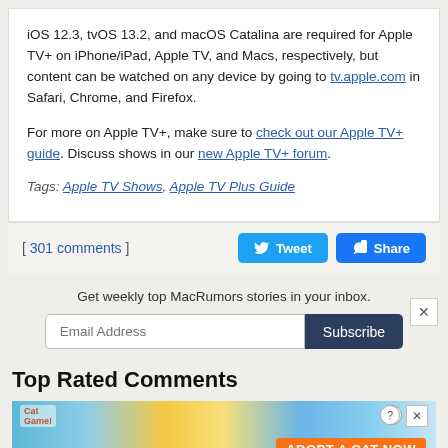iOS 12.3, tvOS 13.2, and macOS Catalina are required for Apple TV+ on iPhone/iPad, Apple TV, and Macs, respectively, but content can be watched on any device by going to tv.apple.com in Safari, Chrome, and Firefox.
For more on Apple TV+, make sure to check out our Apple TV+ guide. Discuss shows in our new Apple TV+ forum.
Tags: Apple TV Shows, Apple TV Plus Guide
[ 301 comments ]
Get weekly top MacRumors stories in your inbox.
Top Rated Comments
[Figure (screenshot): Cat game advertisement banner with cartoon cats and 'ADOPT A CAT NOW' text]